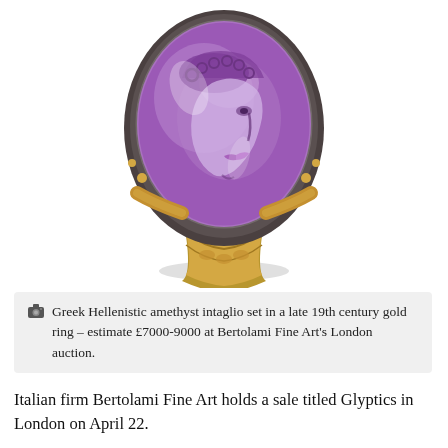[Figure (photo): A Greek Hellenistic amethyst intaglio gem set in a late 19th century gold ring, photographed against a white background. The oval purple amethyst stone features a carved face in profile, set in an ornate gold ring with decorative band.]
Greek Hellenistic amethyst intaglio set in a late 19th century gold ring – estimate £7000-9000 at Bertolami Fine Art's London auction.
Italian firm Bertolami Fine Art holds a sale titled Glyptics in London on April 22.